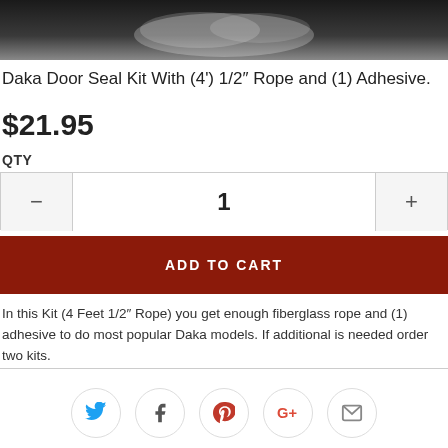[Figure (photo): Partial product photo at the top of the page, dark/blurred background]
Daka Door Seal Kit With (4') 1/2" Rope and (1) Adhesive.
$21.95
QTY
1
ADD TO CART
In this Kit (4 Feet 1/2" Rope) you get enough fiberglass rope and (1) adhesive to do most popular Daka models. If additional is needed order two kits.
[Figure (infographic): Social sharing icons row: Twitter (blue bird), Facebook (f), Pinterest (P), Google+ (G+), Email (envelope)]